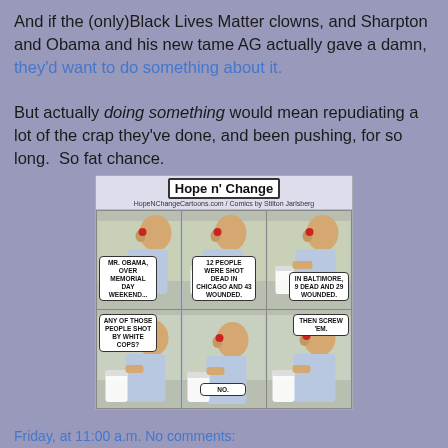And if the (only)Black Lives Matter clowns, and Sharpton and Obama and his new tame AG actually gave a damn, they'd want to do something about it.

But actually doing something would mean repudiating a lot of the crap they've done, and been pushing, for so long.  So fat chance.
[Figure (illustration): Hope n' Change political cartoon showing a series of 6 comic panels featuring a figure drinking, with speech bubbles discussing shootings in Chicago and Baltimore over Memorial Day weekend. The final panel has text 'THEN SCREW 'EM.' Branded with HopeNChangeCartoons.com / Comics by Stilton Jarlsberg.]
Friday, at 11:00 a.m. No comments: